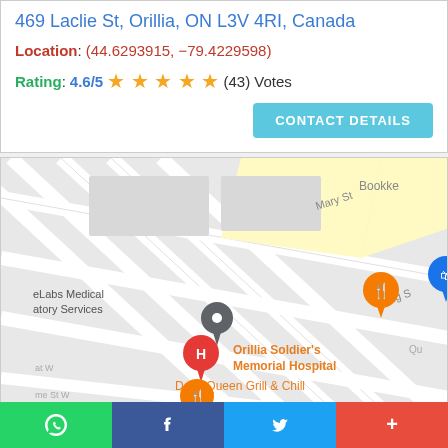469 Laclie St, Orillia, ON L3V 4R1, Canada
Location: (44.6293915, -79.4229598)
Rating: 4.6/5 ★★★★★ (43) Votes
CONTACT DETAILS
[Figure (map): Google Maps screenshot showing Orillia area with markers for Orillia Soldier's Memorial Hospital, Liquidation Nation, Dairy Queen Grill & Chill, eLabs Medical atory Services, Orillia Home Ha Building Centre, and other places. Streets visible include Mary St, Barrie Rd, King St. Map pins include orange food icons, blue shopping bag icons, gray location pin, and red hospital H marker.]
WhatsApp | Facebook | Twitter | +